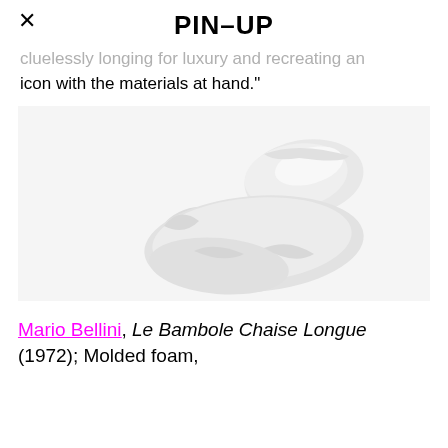PIN–UP
...cluelessly longing for luxury and recreating an icon with the materials at hand."
[Figure (photo): White molded foam chaise longue chair (Le Bambole Chaise Longue by Mario Bellini, 1972) photographed against a light gray background, showing the sculptural organic form of the seat.]
Mario Bellini, Le Bambole Chaise Longue (1972); Molded foam,